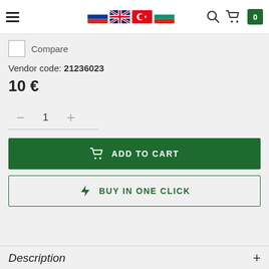Navigation bar with hamburger menu, language flags (Russian, English, Turkish, Bulgarian), search icon, cart icon with badge 0
Compare
Vendor code: 21236023
10 €
— 1 +
🛒 ADD TO CART
🚀 BUY IN ONE CLICK
Description